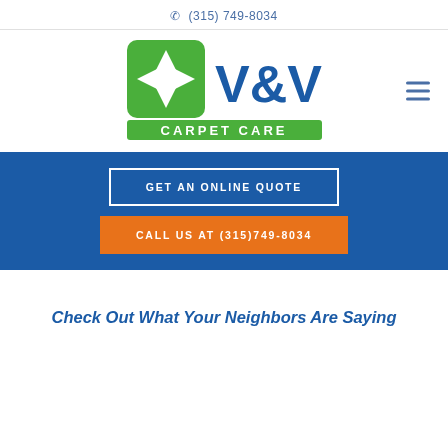(315) 749-8034
[Figure (logo): V&V Carpet Care logo with green and blue star/arrow graphic and green banner reading CARPET CARE]
GET AN ONLINE QUOTE
CALL US AT (315)749-8034
Check Out What Your Neighbors Are Saying